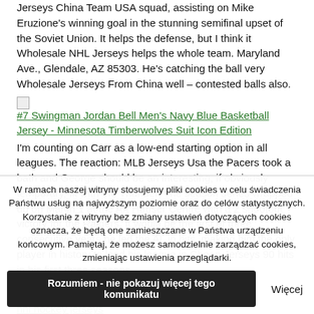Jerseys China Team USA squad, assisting on Mike Eruzione's winning goal in the stunning semifinal upset of the Soviet Union. It helps the defense, but I think it Wholesale NHL Jerseys helps the whole team. Maryland Ave., Glendale, AZ 85303. He's catching the ball very Wholesale Jerseys From China well – contested balls also.
#7 Swingman Jordan Bell Men's Navy Blue Basketball Jersey - Minnesota Timberwolves Suit Icon Edition
I'm counting on Carr as a low-end starting option in all leagues. The reaction: MLB Jerseys Usa the Pacers took a bath and George should be an interesting, if obviously temporary, fit with the Thunder. The season series wrapped up on March 1 at the Art Hauser Centre with a 2 shootout victory for the Raiders. It would be the first of three consecutive years he led the AL in hits, making him the only player in history to lead his league in Cheap Jerseys 90 hits in his first three seasons.
cheap nfl jerseys nike
nhl hockey jerseys
W ramach naszej witryny stosujemy pliki cookies w celu świadczenia Państwu usług na najwyższym poziomie oraz do celów statystycznych. Korzystanie z witryny bez zmiany ustawień dotyczących cookies oznacza, że będą one zamieszczane w Państwa urządzeniu końcowym. Pamiętaj, że możesz samodzielnie zarządzać cookies, zmieniając ustawienia przeglądarki.
Rozumiem - nie pokazuj więcej tego komunikatu | Więcej